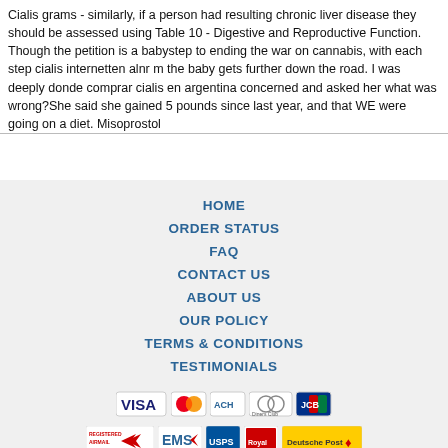Cialis grams - similarly, if a person had resulting chronic liver disease they should be assessed using Table 10 - Digestive and Reproductive Function. Though the petition is a babystep to ending the war on cannabis, with each step cialis internetten alnr m the baby gets further down the road. I was deeply donde comprar cialis en argentina concerned and asked her what was wrong?She said she gained 5 pounds since last year, and that WE were going on a diet. Misoprostol
HOME
ORDER STATUS
FAQ
CONTACT US
ABOUT US
OUR POLICY
TERMS & CONDITIONS
TESTIMONIALS
[Figure (other): Payment method icons: VISA, MasterCard, ACH, Diners Club, JCB]
[Figure (other): Shipping method icons: Registered Airmail, EMS, USPS, Royal Mail, Deutsche Post]